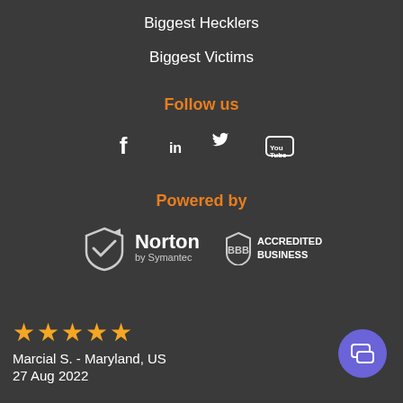Biggest Hecklers
Biggest Victims
Follow us
[Figure (infographic): Social media icons: Facebook (f), LinkedIn (in), Twitter bird, YouTube (You Tube)]
Powered by
[Figure (logo): Norton by Symantec logo with checkmark shield and BBB Accredited Business logo]
[Figure (infographic): Five orange star rating]
Marcial S.  - Maryland, US
27 Aug 2022
[Figure (infographic): Purple chat bubble button in bottom right corner]